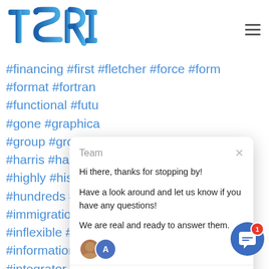[Figure (logo): TSRI logo in blue gradient with stylized letters T S R I]
#financing #first #fletcher #force #form #format #fortran #functional #futu... #gone #graphica... #group #grow #h... #harris #has #he... #highly #his #ho... #hundreds #hyp... #immigration... #inflexible #infor... #informationsyste... #integrator #into #ironically #isbn #itap #its #itt #j2ee #j73 #javascript #jmps #joins #journey #jovial #kaufmann #kept #kir... #knapp #labs #leading #learn #legacy #li... #lines #link #links #linux #litten #location
[Figure (screenshot): Chat popup overlay with greeting: Team header, Hi there thanks for stopping by, Have a look around and let us know if you have any questions, We are real and ready to answer them. Reply input bar at bottom.]
[Figure (other): Blue circular chat button with white chat icon and red badge showing notification count 1]